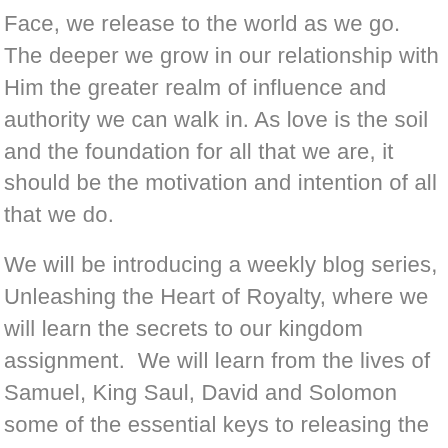Face, we release to the world as we go. The deeper we grow in our relationship with Him the greater realm of influence and authority we can walk in. As love is the soil and the foundation for all that we are, it should be the motivation and intention of all that we do.
We will be introducing a weekly blog series, Unleashing the Heart of Royalty, where we will learn the secrets to our kingdom assignment. We will learn from the lives of Samuel, King Saul, David and Solomon some of the essential keys to releasing the realm of heaven to earth. We will study the breakthroughs and pitfalls of these biblical characters to better understand the nature and